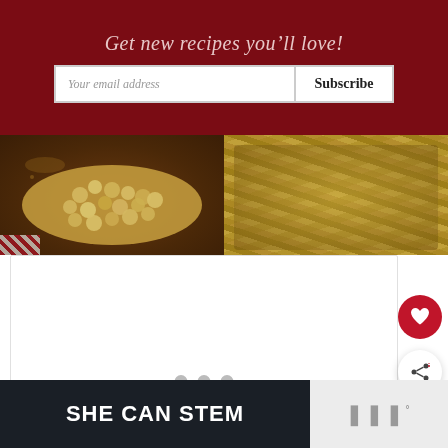Get new recipes you'll love!
[Figure (photo): Two photos side by side: left shows a wooden bowl of white beans/seeds; right shows rolls of burlap or straw material]
[Figure (screenshot): Slideshow card area with three dot pagination indicators at bottom]
[Figure (other): Red circular favorite (heart) button]
[Figure (other): White circular share button with share icon]
[Figure (other): What's Next widget showing thumbnail and text: Kona Coffee Kahlúa...]
[Figure (other): Dark banner advertisement with text SHE CAN STEM and logo on the right]